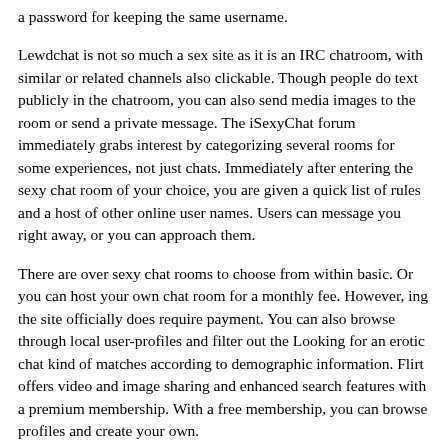a password for keeping the same username.
Lewdchat is not so much a sex site as it is an IRC chatroom, with similar or related channels also clickable. Though people do text publicly in the chatroom, you can also send media images to the room or send a private message. The iSexyChat forum immediately grabs interest by categorizing several rooms for some experiences, not just chats. Immediately after entering the sexy chat room of your choice, you are given a quick list of rules and a host of other online user names. Users can message you right away, or you can approach them.
There are over sexy chat rooms to choose from within basic. Or you can host your own chat room for a monthly fee. However, ing the site officially does require payment. You can also browse through local user-profiles and filter out the Looking for an erotic chat kind of matches according to demographic information. Flirt offers video and image sharing and enhanced search features with a premium membership. With a free membership, you can browse profiles and create your own.
You must follow the rules to claim the credits. You can also sext on your mobile phone, or any device, such as an old-timey desktop. Weird Town lives up to its name, as loading the simply directs you to a text chatroom where you can send messages to random people